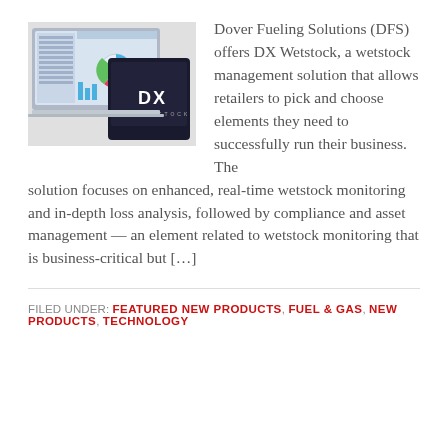[Figure (screenshot): Screenshot of DX Wetstock software interface on laptop and tablet screens, with 'DX' branding visible on a dark device]
Dover Fueling Solutions (DFS) offers DX Wetstock, a wetstock management solution that allows retailers to pick and choose elements they need to successfully run their business. The solution focuses on enhanced, real-time wetstock monitoring and in-depth loss analysis, followed by compliance and asset management — an element related to wetstock monitoring that is business-critical but […]
FILED UNDER: FEATURED NEW PRODUCTS, FUEL & GAS, NEW PRODUCTS, TECHNOLOGY